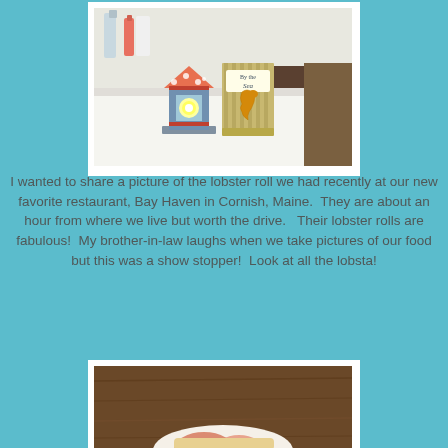[Figure (photo): Photo in white frame showing decorative nautical craft items on a white surface — a small lantern with a glowing light inside a house-shaped structure with orange polka-dot roof, and a striped box labeled 'By the Sea' with a seahorse motif.]
I wanted to share a picture of the lobster roll we had recently at our new favorite restaurant, Bay Haven in Cornish, Maine.  They are about an hour from where we live but worth the drive.   Their lobster rolls are fabulous!  My brother-in-law laughs when we take pictures of our food but this was a show stopper!  Look at all the lobsta!
[Figure (photo): Partial photo in white frame showing what appears to be a lobster roll on a wooden table surface, partially visible at the bottom of the page.]